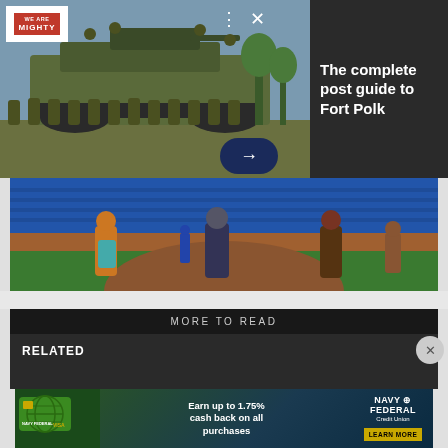[Figure (photo): Military personnel standing in front of a tank, with logo overlay and navigation controls. Dark right panel with text 'The complete post guide to Fort Polk'.]
The complete post guide to Fort Polk
[Figure (photo): People standing on a baseball field with stadium seating in background.]
MORE TO READ
RELATED
[Figure (infographic): Navy Federal Credit Union advertisement: Earn up to 1.75% cash back on all purchases. LEARN MORE button.]